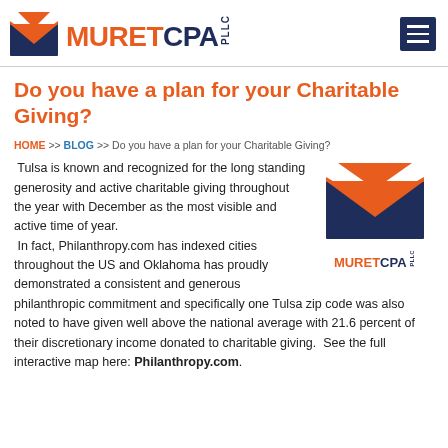[Figure (logo): Muret CPA PLLC logo with envelope icon and hamburger menu button]
Do you have a plan for your Charitable Giving?
HOME >> BLOG >> Do you have a plan for your Charitable Giving?
[Figure (logo): Muret CPA PLLC small logo, floated right within article body]
Tulsa is known and recognized for the long standing generosity and active charitable giving throughout the year with December as the most visible and active time of year. In fact, Philanthropy.com has indexed cities throughout the US and Oklahoma has proudly demonstrated a consistent and generous philanthropic commitment and specifically one Tulsa zip code was also noted to have given well above the national average with 21.6 percent of their discretionary income donated to charitable giving. See the full interactive map here: Philanthropy.com.